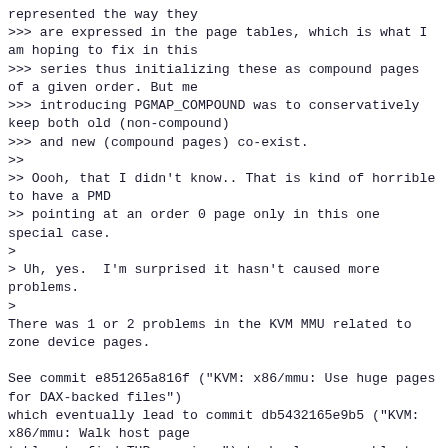represented the way they
>>> are expressed in the page tables, which is what I am hoping to fix in this
>>> series thus initializing these as compound pages of a given order. But me
>>> introducing PGMAP_COMPOUND was to conservatively keep both old (non-compound)
>>> and new (compound pages) co-exist.
>>
>> Oooh, that I didn't know.. That is kind of horrible to have a PMD
>> pointing at an order 0 page only in this one special case.
>
> Uh, yes.  I'm surprised it hasn't caused more problems.
>
There was 1 or 2 problems in the KVM MMU related to zone device pages.

See commit e851265a816f ("KVM: x86/mmu: Use huge pages for DAX-backed files")
which eventually lead to commit db5432165e9b5 ("KVM: x86/mmu: Walk host page
tables to find THP mappings") to be less amenable to metadata changes.

>> Still, I think it would be easier to teach record_subpages() that a
>> PMD doesn't necessarily point to a high order page,